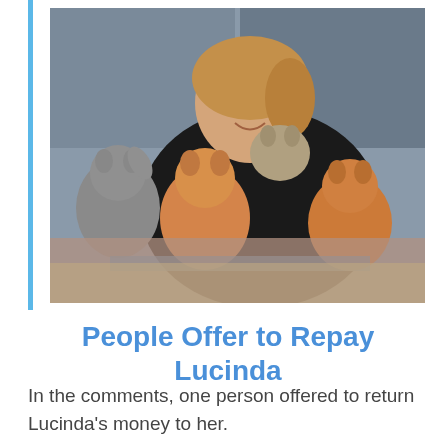[Figure (photo): A smiling young blonde girl holding several kittens of different colors (grey, orange, tabby) with her arms. The bottom portion of the image is blurred.]
People Offer to Repay Lucinda
In the comments, one person offered to return Lucinda's money to her.